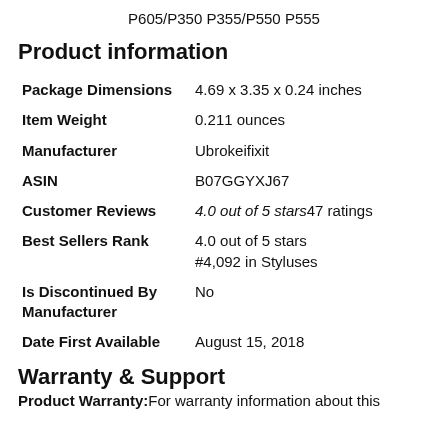P605/P350 P355/P550 P555
Product information
| Package Dimensions | 4.69 x 3.35 x 0.24 inches |
| Item Weight | 0.211 ounces |
| Manufacturer | Ubrokeifixit |
| ASIN | B07GGYXJ67 |
| Customer Reviews | 4.0 out of 5 stars47 ratings |
| Best Sellers Rank | 4.0 out of 5 stars
#4,092 in Styluses |
| Is Discontinued By Manufacturer | No |
| Date First Available | August 15, 2018 |
Warranty & Support
Product Warranty: For warranty information about this